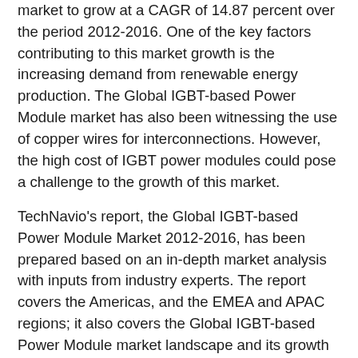market to grow at a CAGR of 14.87 percent over the period 2012-2016. One of the key factors contributing to this market growth is the increasing demand from renewable energy production. The Global IGBT-based Power Module market has also been witnessing the use of copper wires for interconnections. However, the high cost of IGBT power modules could pose a challenge to the growth of this market.
TechNavio's report, the Global IGBT-based Power Module Market 2012-2016, has been prepared based on an in-depth market analysis with inputs from industry experts. The report covers the Americas, and the EMEA and APAC regions; it also covers the Global IGBT-based Power Module market landscape and its growth prospects in the coming years. The report also includes a discussion of the key vendors operating in this market.